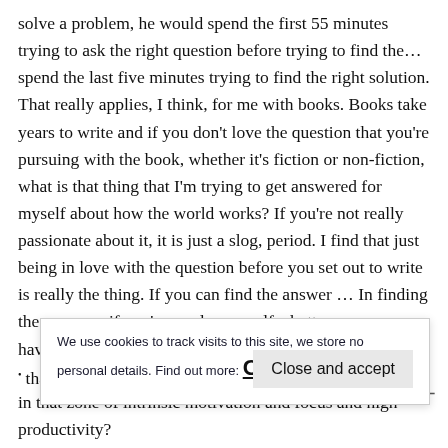solve a problem, he would spend the first 55 minutes trying to ask the right question before trying to find the… spend the last five minutes trying to find the right solution. That really applies, I think, for me with books. Books take years to write and if you don't love the question that you're pursuing with the book, whether it's fiction or non-fiction, what is that thing that I'm trying to get answered for myself about how the world works? If you're not really passionate about it, it is just a slog, period. I find that just being in love with the question before you set out to write is really the thing. If you can find the answer … In finding the answers, if you've made yourself a better person, you have a chance to make your readers a better person and that's the key for me in choosing a book to write.
We use cookies to track visits to this site, we store no personal details. Find out more: Cookie Policy
in that zone of intrinsic motivation and focus and high productivity?